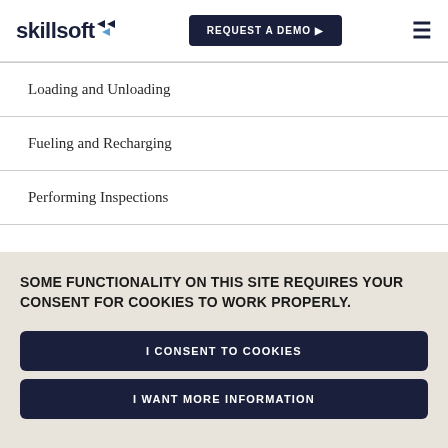skillsoft | REQUEST A DEMO
Loading and Unloading
Fueling and Recharging
Performing Inspections
SOME FUNCTIONALITY ON THIS SITE REQUIRES YOUR CONSENT FOR COOKIES TO WORK PROPERLY.
I CONSENT TO COOKIES
I WANT MORE INFORMATION